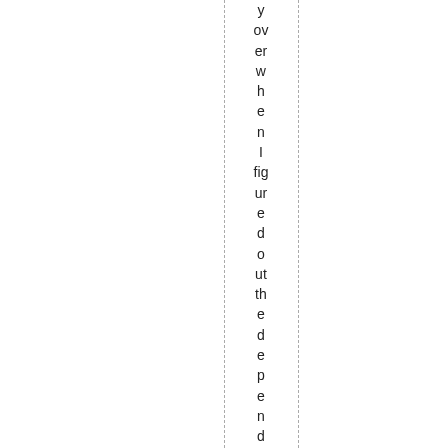y overwhelmed when I figured out the dependencies and su